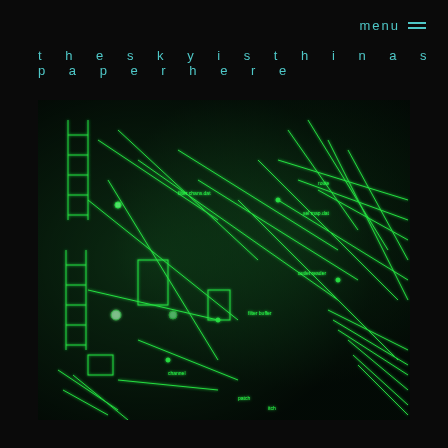menu
theskyisthinaspaperhere
[Figure (photo): Dark photograph showing a complex network of bright green glowing lines, nodes, and text labels resembling a digital map or node-graph visualization displayed on a screen, photographed in a dark room]